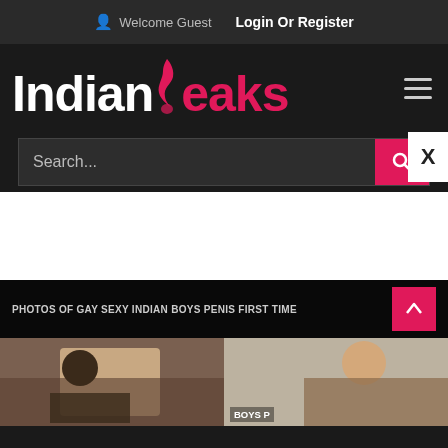Welcome Guest  Login Or Register
[Figure (logo): IndianLeaks website logo with flame figure, white 'Indian' text and pink 'leaks' text on dark background]
Search...
[Figure (screenshot): White blank content area]
PHOTOS OF GAY SEXY INDIAN BOYS PENIS FIRST TIME
BOYS P
[Figure (photo): Two thumbnail images of content at bottom of page]